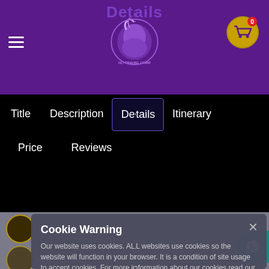Details
Title | Description | Details | Price | Reviews | Itinerary
[Figure (screenshot): Cookie warning modal dialog overlaying a travel website details page. The modal reads: 'Cookie Warning' - 'Our website uses cookies. ALL websites use cookies so the website will function in your browser. It is a condition of site usage to accept cookies. For more information about our cookies read our privacy policy' with Accept and Deny buttons. Behind the modal are navigation items: AVAILABILITY - EVERYDAY, DURATION - CUSTOMIZABLE, PICKUP - ON REQUEST, DROP-OFF - ON REQUEST]
Cookie Warning
Our website uses cookies. ALL websites use cookies so the website will function in your browser. It is a condition of site usage to accept cookies. For more information about our cookies read our privacy policy
AVAILABILITY - EVERYDAY
DURATION - CUSTOMIZABLE
PICKUP - ON REQUEST
DROP-OFF - ON REQUEST